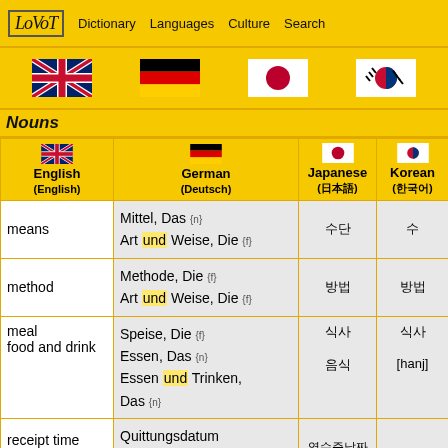LoVoT | Dictionary | Languages | Culture | Search
[Figure (screenshot): Navigation bar with LoVoT logo and menu items: Dictionary, Languages, Culture, Search. Below: flag icons for UK/English, Germany/German, Japan/Japanese, Korea/Korean.]
Nouns
| English (English) | German (Deutsch) | Japanese (日本語) | Korean (한국어) |
| --- | --- | --- | --- |
| means | Mittel, Das {n}
Art und Weise, Die {f} | 수단 | 수 |
| method | Methode, Die {f}
Art und Weise, Die {f} | 방법 | 방법 |
| meal
food and drink | Speise, Die {f}
Essen, Das {n}
Essen und Trinken, Das {n} | 식사
음식 | 식사
[hanj] |
| receipt time and date | Quittungsdatum und -uhrzeit [fin] | 영수증날짜 |  |
| underground | Untergrun... |  |  |